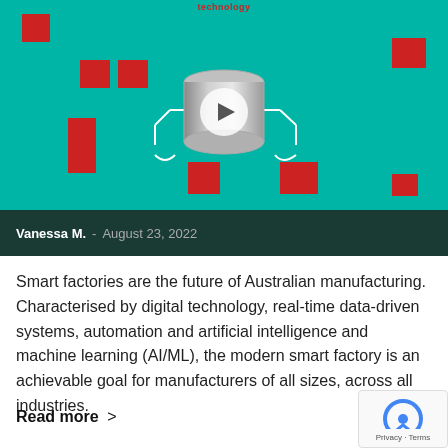[Figure (screenshot): Teal/green banner with red squares scattered around a 3D database cylinder graphic with a white play button overlay, and a small 'technology' label at top center]
Vanessa M. - August 23, 2022
Smart factories are the future of Australian manufacturing. Characterised by digital technology, real-time data-driven systems, automation and artificial intelligence and machine learning (AI/ML), the modern smart factory is an achievable goal for manufacturers of all sizes, across all industries.
Read more >